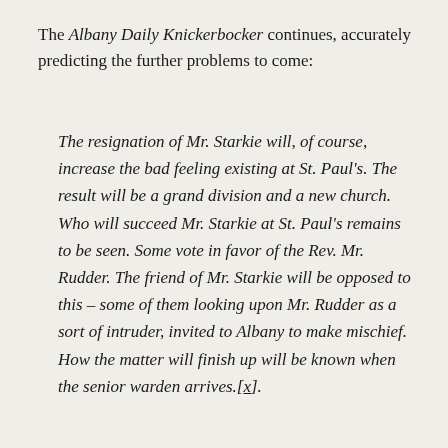The Albany Daily Knickerbocker continues, accurately predicting the further problems to come:
The resignation of Mr. Starkie will, of course, increase the bad feeling existing at St. Paul's. The result will be a grand division and a new church. Who will succeed Mr. Starkie at St. Paul's remains to be seen. Some vote in favor of the Rev. Mr. Rudder. The friend of Mr. Starkie will be opposed to this – some of them looking upon Mr. Rudder as a sort of intruder, invited to Albany to make mischief. How the matter will finish up will be known when the senior warden arrives.[x].